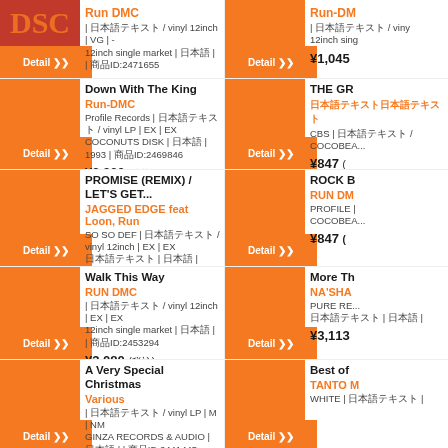Run DMC | vinyl 12inch | VG | - 12inch single market | | | ID:2471655 ¥880 (税込)
Run-DMC | vinyl 12inch ... 12inch single market ... ¥1,045
Down With The King - Run-DMC - Profile Records | vinyl LP | EX | EX COCONUTS DISK | 1993 | ID:2469846 ¥3,300 (税込)
THE GR... - CBS | COCOBEA... ¥847
PROMISE (REMIX) / LET'S GET... - JAGGED EDGE feat Loon, Run - SO SO DEF | vinyl 12inch | EX | EX | 1999 | ID:2462928 ¥1,177 (税込)
ROCK B... - RUN DM... - PROFILE | COBEA... ¥847
Walk This Way - RUN DMC | vinyl 12inch | EX | EX 12inch single market | | | ID:2453294 ¥3,080 (税込)
More Th... - NA'SHA... - PURE RE... ¥3,113
A Very Special Christmas - Various | vinyl LP | M | NM GINZA RECORDS & AUDIO | | | ID:2441445
Best of... - TANTO M... - WHITE |...